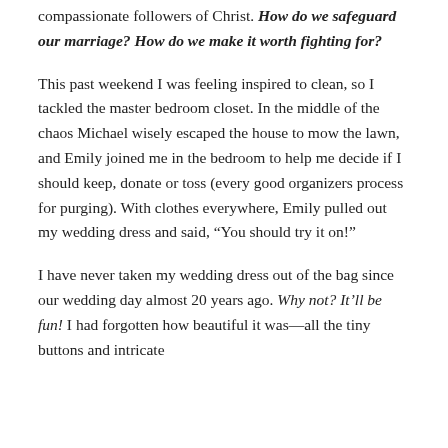compassionate followers of Christ. How do we safeguard our marriage? How do we make it worth fighting for?
This past weekend I was feeling inspired to clean, so I tackled the master bedroom closet. In the middle of the chaos Michael wisely escaped the house to mow the lawn, and Emily joined me in the bedroom to help me decide if I should keep, donate or toss (every good organizers process for purging). With clothes everywhere, Emily pulled out my wedding dress and said, “You should try it on!”
I have never taken my wedding dress out of the bag since our wedding day almost 20 years ago. Why not? It’ll be fun! I had forgotten how beautiful it was—all the tiny buttons and intricate